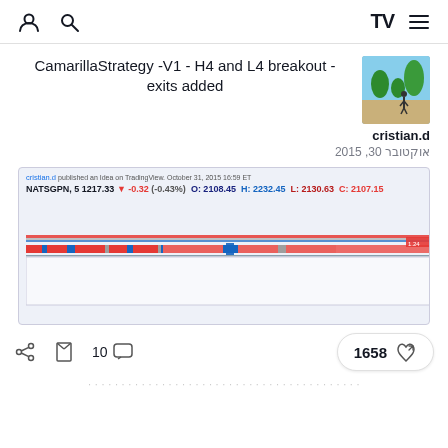TradingView navigation bar with user, search, logo, and menu icons
CamarillaStrategy -V1 - H4 and L4 breakout - exits added
cristian.d
אוקטובר 30, 2015
[Figure (screenshot): TradingView chart screenshot showing NATSGPN stock with Camarilla strategy indicators, price bars, and colored horizontal levels]
10
1658